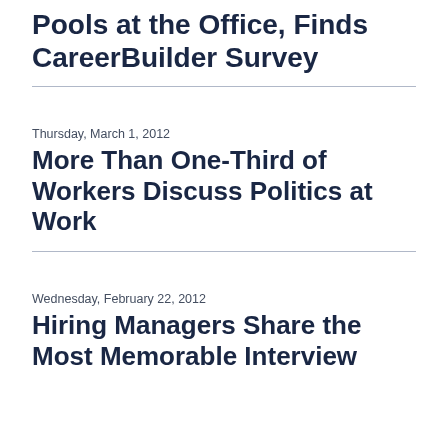Pools at the Office, Finds CareerBuilder Survey
Thursday, March 1, 2012
More Than One-Third of Workers Discuss Politics at Work
Wednesday, February 22, 2012
Hiring Managers Share the Most Memorable Interview